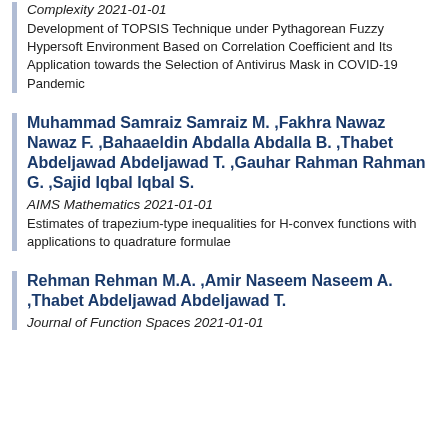Complexity 2021-01-01
Development of TOPSIS Technique under Pythagorean Fuzzy Hypersoft Environment Based on Correlation Coefficient and Its Application towards the Selection of Antivirus Mask in COVID-19 Pandemic
Muhammad Samraiz Samraiz M. ,Fakhra Nawaz Nawaz F. ,Bahaaeldin Abdalla Abdalla B. ,Thabet Abdeljawad Abdeljawad T. ,Gauhar Rahman Rahman G. ,Sajid Iqbal Iqbal S.
AIMS Mathematics 2021-01-01
Estimates of trapezium-type inequalities for H-convex functions with applications to quadrature formulae
Rehman Rehman M.A. ,Amir Naseem Naseem A. ,Thabet Abdeljawad Abdeljawad T.
Journal of Function Spaces 2021-01-01